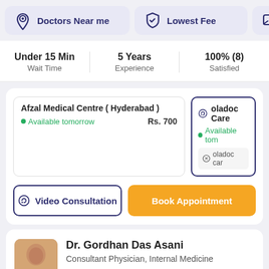[Figure (screenshot): Navigation buttons: Doctors Near me (location icon), Lowest Fee (shield icon), and a partially visible third button]
Under 15 Min
Wait Time
5 Years
Experience
100% (8)
Satisfied
Afzal Medical Centre ( Hyderabad )
Available tomorrow
Rs. 700
oladoc Care
Available tom
oladoc car
Video Consultation
Book Appointment
Dr. Gordhan Das Asani
Consultant Physician, Internal Medicine